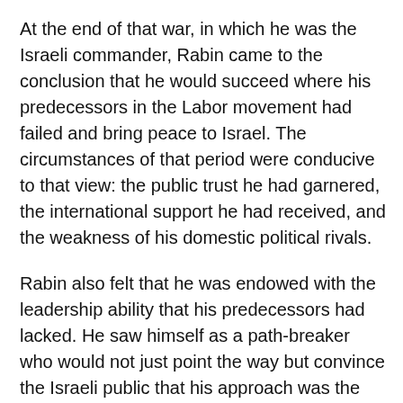At the end of that war, in which he was the Israeli commander, Rabin came to the conclusion that he would succeed where his predecessors in the Labor movement had failed and bring peace to Israel. The circumstances of that period were conducive to that view: the public trust he had garnered, the international support he had received, and the weakness of his domestic political rivals.
Rabin also felt that he was endowed with the leadership ability that his predecessors had lacked. He saw himself as a path-breaker who would not just point the way but convince the Israeli public that his approach was the right one and succeed to fulfill the dream of every Israeli who desired to live.